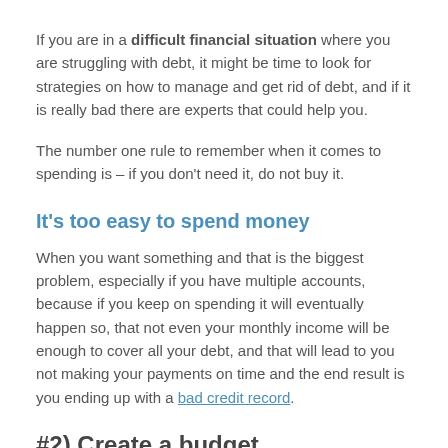If you are in a difficult financial situation where you are struggling with debt, it might be time to look for strategies on how to manage and get rid of debt, and if it is really bad there are experts that could help you.
The number one rule to remember when it comes to spending is – if you don't need it, do not buy it.
It's too easy to spend money
When you want something and that is the biggest problem, especially if you have multiple accounts, because if you keep on spending it will eventually happen so, that not even your monthly income will be enough to cover all your debt, and that will lead to you not making your payments on time and the end result is you ending up with a bad credit record.
#2) Create a budget